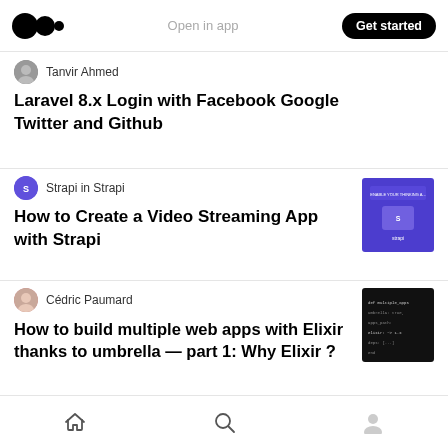Open in app | Get started
Tanvir Ahmed
Laravel 8.x Login with Facebook Google Twitter and Github
Strapi in Strapi
How to Create a Video Streaming App with Strapi
[Figure (screenshot): Thumbnail for Strapi video streaming article — dark purple background with Strapi logo and text]
Cédric Paumard
How to build multiple web apps with Elixir thanks to umbrella — part 1: Why Elixir ?
[Figure (screenshot): Thumbnail for Elixir umbrella article — dark/black background with code text]
Diana Joanita
[Figure (screenshot): Partial thumbnail visible at bottom right]
Home | Search | Profile